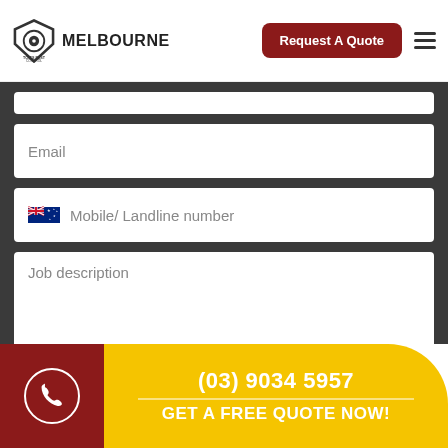[Figure (logo): Tom's Pest Control Melbourne logo with shield/eye icon and text MELBOURNE]
Request A Quote
Email
Mobile/ Landline number
Job description
(03) 9034 5957
GET A FREE QUOTE NOW!